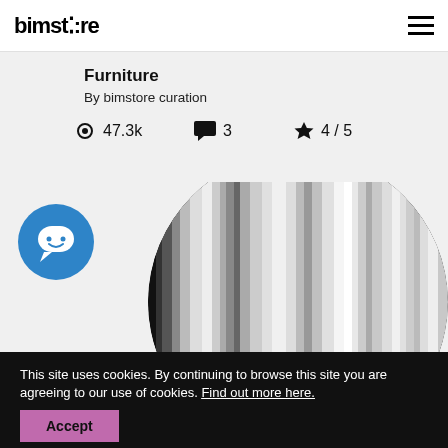bimstore
Furniture
By bimstore curation
47.3k   3   4 / 5
[Figure (photo): Circular product image showing vertical metallic/chrome ribbed furniture piece with reflective surface, alongside a blue circular avatar icon with a white chat bubble face]
This site uses cookies. By continuing to browse this site you are agreeing to our use of cookies. Find out more here.
Accept